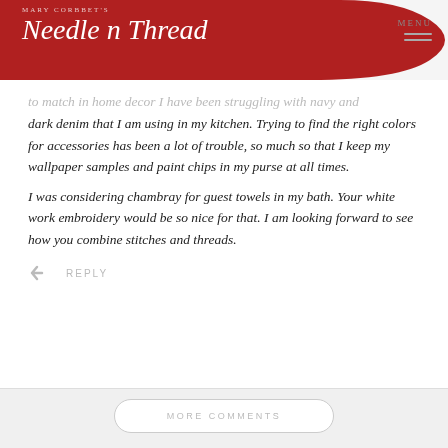Mary Corbett's Needle n Thread
to match in home decor I have been struggling with navy and dark denim that I am using in my kitchen. Trying to find the right colors for accessories has been a lot of trouble, so much so that I keep my wallpaper samples and paint chips in my purse at all times. I was considering chambray for guest towels in my bath. Your white work embroidery would be so nice for that. I am looking forward to see how you combine stitches and threads.
REPLY
MORE COMMENTS